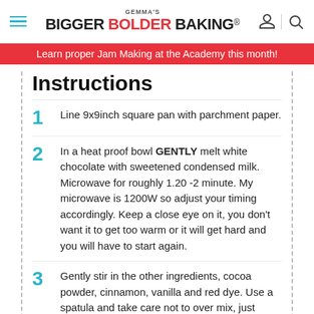Gemma's Bigger Bolder Baking®
Learn proper Jam Making at the Academy this month!
Instructions
1  Line 9x9inch square pan with parchment paper.
2  In a heat proof bowl GENTLY melt white chocolate with sweetened condensed milk. Microwave for roughly 1.20 -2 minute. My microwave is 1200W so adjust your timing accordingly. Keep a close eye on it, you don't want it to get too warm or it will get hard and you will have to start again.
3  Gently stir in the other ingredients, cocoa powder, cinnamon, vanilla and red dye. Use a spatula and take care not to over mix, just combine.
4  Spread evenly in prepared pan.